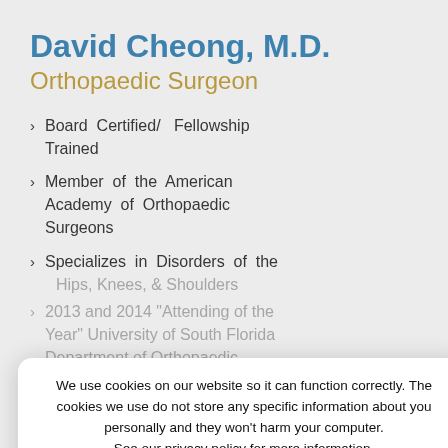David Cheong, M.D.
Orthopaedic Surgeon
Board Certified/ Fellowship Trained
Member of the American Academy of Orthopaedic Surgeons
Specializes in Disorders of the Hips, Knees, & Shoulders
2013 and 2014 “Attending of the Year” University of South Florida Department of Orthopaedic Surgery
We use cookies on our website so it can function correctly. The cookies we use do not store any specific information about you personally and they won’t harm your computer. See our privacy policy for more information.
Accept
David Cheong, M.D. is a fellowship-trained, Board-certified